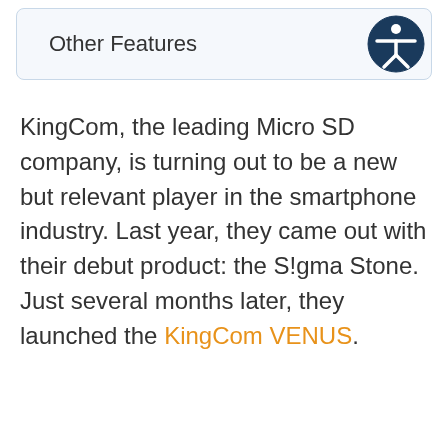Other Features
KingCom, the leading Micro SD company, is turning out to be a new but relevant player in the smartphone industry. Last year, they came out with their debut product: the S!gma Stone. Just several months later, they launched the KingCom VENUS.